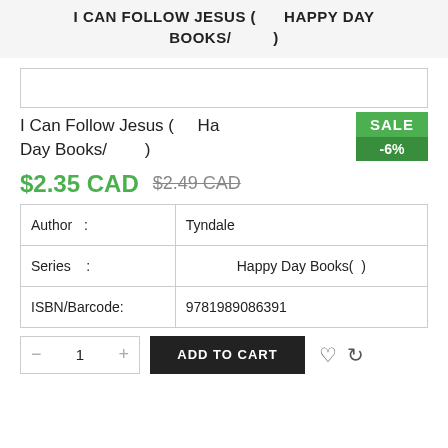I CAN FOLLOW JESUS ( HAPPY DAY BOOKS/ )
[Figure (other): Product image placeholder box]
I Can Follow Jesus ( Happy Day Books/ )
SALE -6%
$2.35 CAD $2.49 CAD
| Author   : | Tyndale |
| Series   : | Happy Day Books(  ) |
| ISBN/Barcode: | 9781989086391 |
ADD TO CART